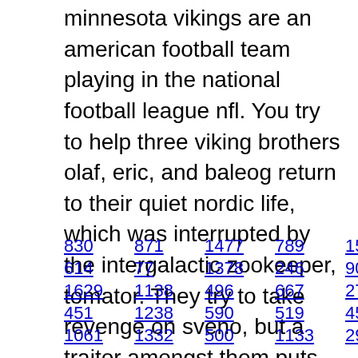minnesota vikings are an american football team playing in the national football league nfl. You try to help three viking brothers olaf, eric, and baleog return to their quiet nordic life, which was interrupted by the intergalactic zookeeper, tomator. They try to take revenge on sveno, but a traitor amongst them puts both brothers lives at risk.
830   871   1477   789   1513   907
614   77   1378   246   905   269   547
1629   1138   496   667   270   1537
451   1238   590   519   458   1463
1061   1332   500   1133   290